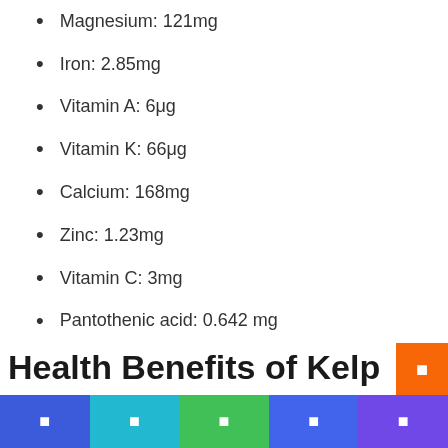Magnesium: 121mg
Iron: 2.85mg
Vitamin A: 6μg
Vitamin K: 66μg
Calcium: 168mg
Zinc: 1.23mg
Vitamin C: 3mg
Pantothenic acid: 0.642 mg
Sodium: 233mg
Potassium: 89mg
Phosphorus: 42mg
Manganese: 0.2mg
Health Benefits of Kelp